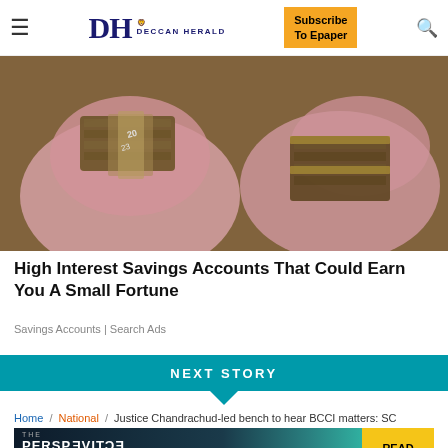DH DECCAN HERALD | Subscribe To Epaper
[Figure (photo): Bags filled with bundled cash/money bills, pink fabric bags overflowing with stacks of currency]
High Interest Savings Accounts That Could Earn You A Small Fortune
Savings Accounts | Search Ads
NEXT STORY
Home / National / Justice Chandrachud-led bench to hear BCCI matters: SC
[Figure (screenshot): THE PERSPECTIVE advertisement banner: SEE WHAT YOU'RE MISSING - READ MORE]